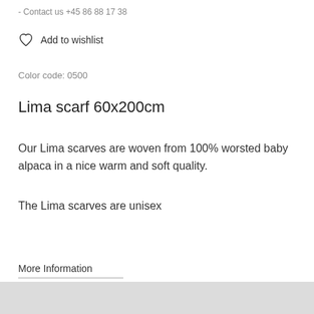- Contact us +45 86 88 17 38
Add to wishlist
Color code: 0500
Lima scarf 60x200cm
Our Lima scarves are woven from 100% worsted baby alpaca in a nice warm and soft quality.
The Lima scarves are unisex
More Information